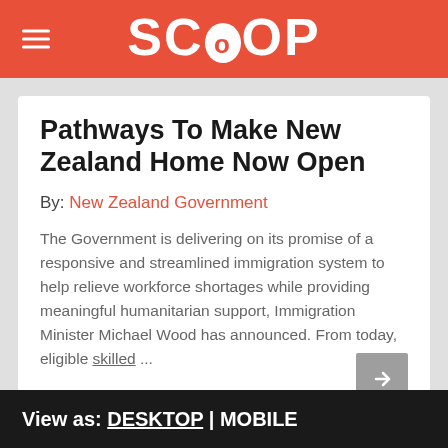SCOOP
Pathways To Make New Zealand Home Now Open
By: New Zealand Government
The Government is delivering on its promise of a responsive and streamlined immigration system to help relieve workforce shortages while providing meaningful humanitarian support, Immigration Minister Michael Wood has announced. From today, eligible skilled ...
View as: DESKTOP | MOBILE